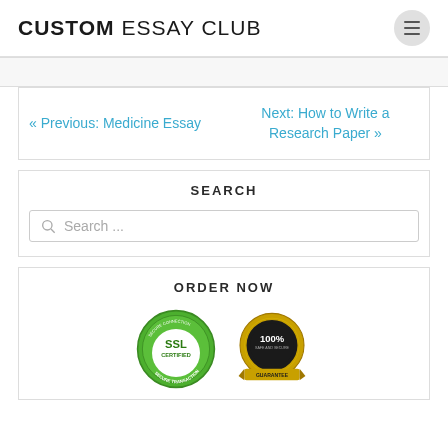CUSTOM ESSAY CLUB
« Previous: Medicine Essay
Next: How to Write a Research Paper »
SEARCH
Search ...
ORDER NOW
[Figure (illustration): SSL Certified Secure Transaction badge (green circle) and 100% Safe and Secure Guarantee badge (gold medallion)]